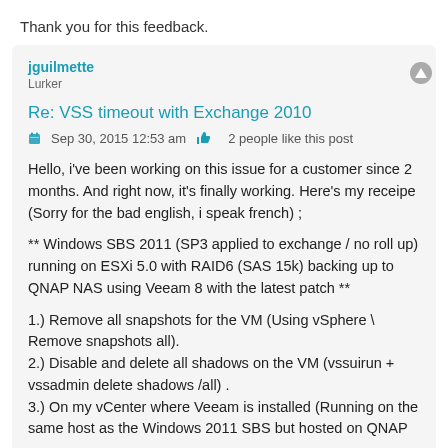Thank you for this feedback.
jguilmette
Lurker
Re: VSS timeout with Exchange 2010
Sep 30, 2015 12:53 am   2 people like this post
Hello, i've been working on this issue for a customer since 2 months. And right now, it's finally working. Here's my receipe (Sorry for the bad english, i speak french) ;
** Windows SBS 2011 (SP3 applied to exchange / no roll up) running on ESXi 5.0 with RAID6 (SAS 15k) backing up to QNAP NAS using Veeam 8 with the latest patch **
1.) Remove all snapshots for the VM (Using vSphere \ Remove snapshots all).
2.) Disable and delete all shadows on the VM (vssuirun + vssadmin delete shadows /all) .
3.) On my vCenter where Veeam is installed (Running on the same host as the Windows 2011 SBS but hosted on QNAP